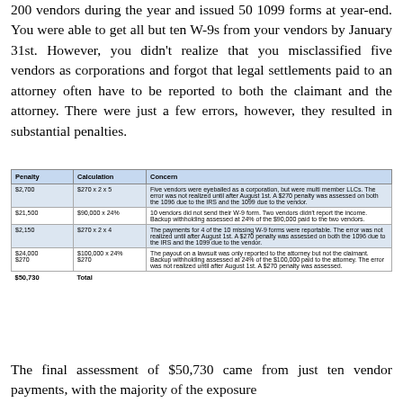200 vendors during the year and issued 50 1099 forms at year-end. You were able to get all but ten W-9s from your vendors by January 31st. However, you didn't realize that you misclassified five vendors as corporations and forgot that legal settlements paid to an attorney often have to be reported to both the claimant and the attorney. There were just a few errors, however, they resulted in substantial penalties.
| Penalty | Calculation | Concern |
| --- | --- | --- |
| $2,700 | $270 x 2 x 5 | Five vendors were eyeballed as a corporation, but were multi member LLCs. The error was not realized until after August 1st. A $270 penalty was assessed on both the 1096 due to the IRS and the 1099 due to the vendor. |
| $21,500 | $90,000 x 24% | 10 vendors did not send their W-9 form. Two vendors didn't report the income. Backup withholding assessed at 24% of the $90,000 paid to the two vendors. |
| $2,150 | $270 x 2 x 4 | The payments for 4 of the 10 missing W-9 forms were reportable. The error was not realized until after August 1st. A $270 penalty was assessed on both the 1096 due to the IRS and the 1099 due to the vendor. |
| $24,000
$270 | $100,000 x 24%
$270 | The payout on a lawsuit was only reported to the attorney but not the claimant. Backup withholding assessed at 24% of the $100,000 paid to the attorney. The error was not realized until after August 1st. A $270 penalty was assessed. |
The final assessment of $50,730 came from just ten vendor payments, with the majority of the exposure